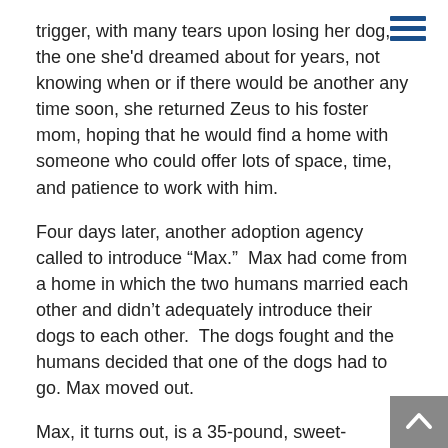trigger, with many tears upon losing her dog, the one she'd dreamed about for years, not knowing when or if there would be another any time soon, she returned Zeus to his foster mom, hoping that he would find a home with someone who could offer lots of space, time, and patience to work with him.
Four days later, another adoption agency called to introduce “Max.”  Max had come from a home in which the two humans married each other and didn’t adequately introduce their dogs to each other.  The dogs fought and the humans decided that one of the dogs had to go. Max moved out.
Max, it turns out, is a 35-pound, sweet-tempered Australian Shepherd – Corgi mix (mid-sized body on shortish legs), playful, wicked smart, and well trained. Max immediately made friends with my friend and they were off and running together. Literally. Although more slowly than she would have been running with Zeus. But, let’s not quibble.  Smiles all around.